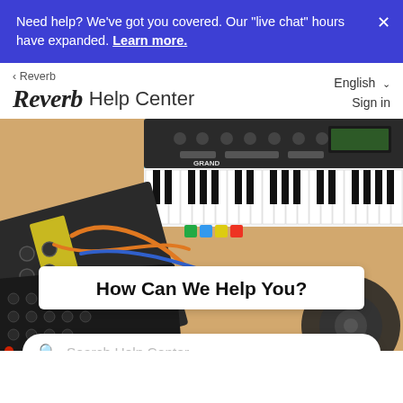Need help? We've got you covered. Our "live chat" hours have expanded. Learn more.
‹ Reverb
Reverb Help Center
English
Sign in
[Figure (photo): Overhead view of synthesizers, modular synthesizer equipment, and headphones on a beige/wooden surface. A blue synthesizer with piano keys labeled 'GRANDMONTH' is visible, along with black modular synthesizer equipment with cables.]
How Can We Help You?
Search Help Center